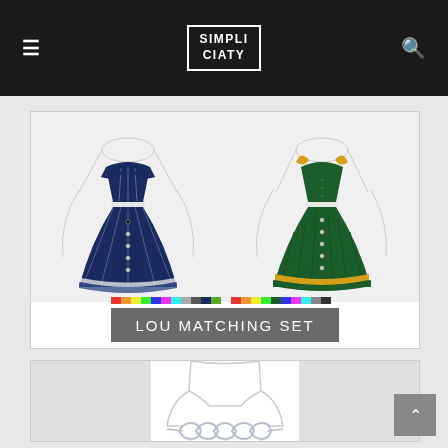SIMPLICIATY
[Figure (illustration): Two Sims outfits: left is a navy blue pinstripe halter crop top and matching flared button skirt; right is a dark green halter crop top with gold collar and matching pleated button skirt. Color swatches shown at bottom. Label reads LOU MATCHING SET.]
[Figure (illustration): A Sims accessory item showing a silver chain-link necklace with heart charms on a mannequin torso outline, partially visible at the bottom of the page.]